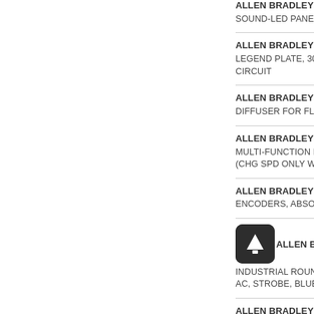ALLEN BRADLEY 855PD-B... SOUND-LED PANEL ALARM
ALLEN BRADLEY 800F-17W... LEGEND PLATE, 30X40MM ... CIRCUIT
ALLEN BRADLEY 800F-AD... DIFFUSER FOR FLUSH ILLU...
ALLEN BRADLEY 800F-AEA... MULTI-FUNCTION EXTEND... (CHG SPD ONLY WHEN IN S...
ALLEN BRADLEY 845D-SJE... ENCODERS, ABSOLUTE EN...
ALLEN BRADLEY 855BL-T2... INDUSTRIAL ROUND BEAC... AC, STROBE, BLUE LENS
ALLEN BRADLEY 813S-E26... VOLTAGE MONITORING DE... REVERSAL, PHASE IMBAL... POWER SUPPLY 220V AC...